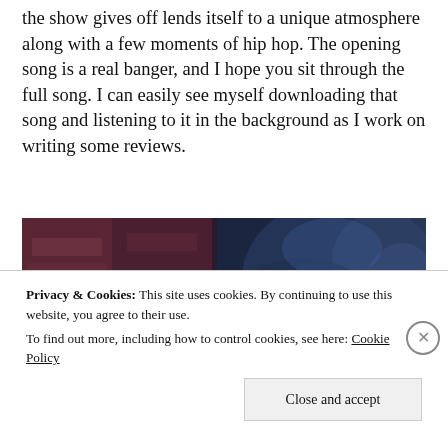the show gives off lends itself to a unique atmosphere along with a few moments of hip hop. The opening song is a real banger, and I hope you sit through the full song. I can easily see myself downloading that song and listening to it in the background as I work on writing some reviews.
[Figure (illustration): Anime screenshot showing a character with dark hair in a dark atmospheric scene with blue and purple tones, stone-like background]
Privacy & Cookies: This site uses cookies. By continuing to use this website, you agree to their use.
To find out more, including how to control cookies, see here: Cookie Policy
[Close and accept button]